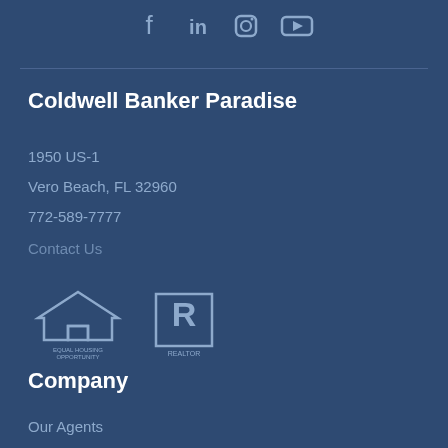[Figure (other): Social media icons: Facebook, LinkedIn, Instagram, YouTube]
Coldwell Banker Paradise
1950 US-1
Vero Beach, FL 32960
772-589-7777
Contact Us
[Figure (logo): Equal Housing Opportunity logo and REALTOR logo]
Company
Our Agents